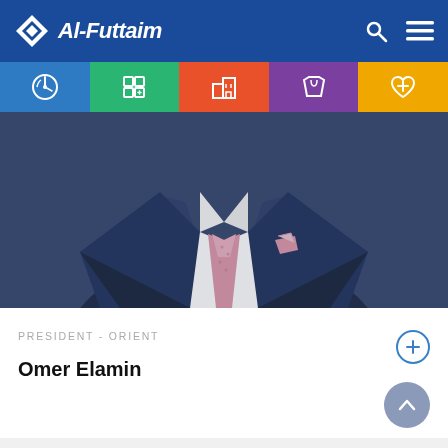Al-Futtaim
[Figure (screenshot): Navigation tabs with icons: automotive (blue), finance (green), real estate (orange), retail (purple), health (yellow)]
[Figure (photo): Professional headshot of a man in a dark navy suit with a patterned pink tie and matching pocket square, photographed from chest up]
PRESIDENT - ORIENT
Omer Elamin